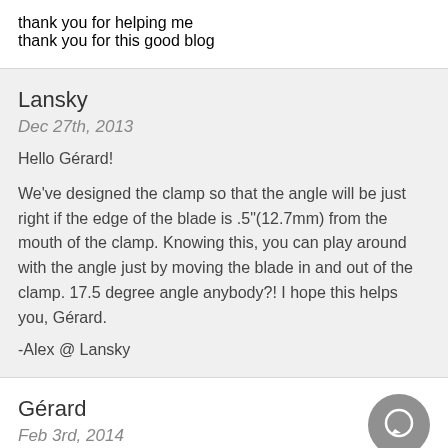thank you for helping me
thank you for this good blog
Lansky
Dec 27th, 2013
Hello Gérard!

We've designed the clamp so that the angle will be just right if the edge of the blade is .5"(12.7mm) from the mouth of the clamp. Knowing this, you can play around with the angle just by moving the blade in and out of the clamp. 17.5 degree angle anybody?! I hope this helps you, Gérard.

-Alex @ Lansky
Gérard
Feb 3rd, 2014